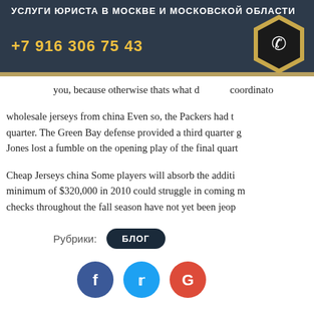УСЛУГИ ЮРИСТА В МОСКВЕ И МОСКОВСКОЙ ОБЛАСТИ
+7 916 306 75 43
you, because otherwise thats what d coordinator
wholesale jerseys from china Even so, the Packers had t quarter. The Green Bay defense provided a third quarter g Jones lost a fumble on the opening play of the final quart
Cheap Jerseys china Some players will absorb the additi minimum of $320,000 in 2010 could struggle in coming m checks throughout the fall season have not yet been jeop
Рубрики: БЛОГ